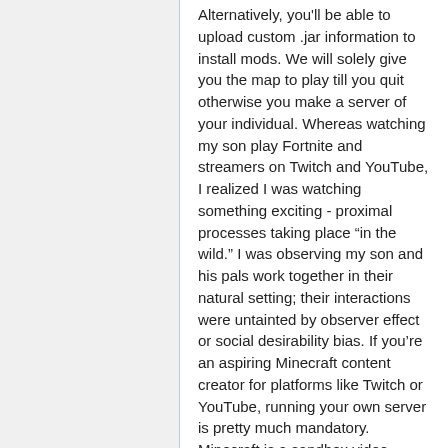Alternatively, you'll be able to upload custom .jar information to install mods. We will solely give you the map to play till you quit otherwise you make a server of your individual. Whereas watching my son play Fortnite and streamers on Twitch and YouTube, I realized I was watching something exciting - proximal processes taking place “in the wild.” I was observing my son and his pals work together in their natural setting; their interactions were untainted by observer effect or social desirability bias. If you’re an aspiring Minecraft content creator for platforms like Twitch or YouTube, running your own server is pretty much mandatory. Minecraft is a sandbox video recreation created by Swedish developer Markus Persson, launched by Mojang in 2011 and purchased by Microsoft in